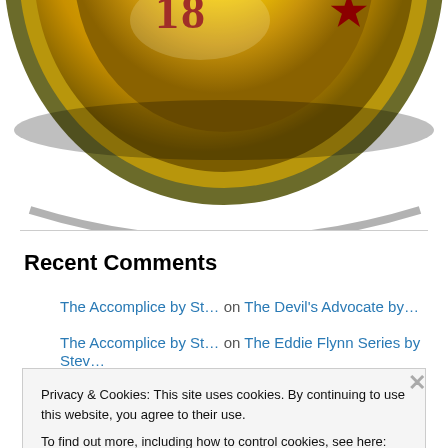[Figure (illustration): Bottom portion of a gold medal/coin with red text partially visible at the top, shown against a white background.]
Recent Comments
The Accomplice by St… on The Devil's Advocate by…
The Accomplice by St… on The Eddie Flynn Series by Stev…
Privacy & Cookies: This site uses cookies. By continuing to use this website, you agree to their use.
To find out more, including how to control cookies, see here: Cookie Policy
Close and accept